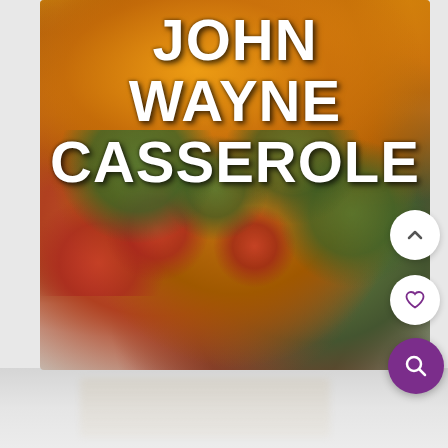[Figure (photo): Close-up photo of John Wayne Casserole in a baking dish, showing melted orange cheese on top with green peppers, red tomatoes, and seasoned ground beef mixture visible underneath. The dish is being served with a spatula.]
JOHN WAYNE CASSEROLE